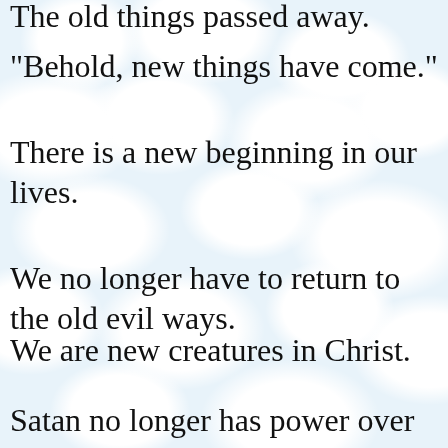The old things passed away.
"Behold, new things have come."
There is a new beginning in our lives.
We no longer have to return to the old evil ways.
We are new creatures in Christ.
Satan no longer has power over